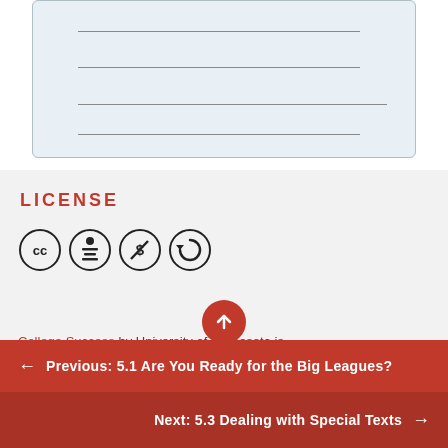[Figure (other): Light blue form box with four horizontal lines representing blank form fields]
LICENSE
[Figure (other): Creative Commons license icons: CC, BY (attribution), NC (non-commercial), SA (share-alike)]
College Success by University of Minnesota is
Previous: 5.1 Are You Ready for the Big Leagues?
Next: 5.3 Dealing with Special Texts